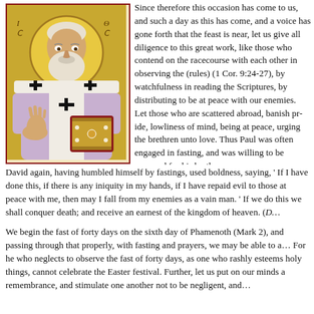[Figure (illustration): Orthodox icon of a bearded saint/bishop wearing white and gold vestments with black crosses, holding an ornate jeweled gospel book, with a gold halo behind his head and Greek letters IC XC in the background.]
Since therefore this occasion has come to us, and such a day as this has come, and a voice has gone forth that the feast is near, let us give all diligence to this great work, like those who contend on the racecourse with each other in observing the (rules) (1 Cor. 9:24-27), by watchfulness in reading the Scriptures, by distributing to be at peace with our enemies. Let those who are scattered abroad, banish pride, lowliness of mind, being at peace, urging the brethren unto love. Thus Paul was often engaged in fasting, and was willing to be accursed for his brethren.
David again, having humbled himself by fastings, used boldness, saying, ' If I have done this, if there is any iniquity in my hands, if I have repaid evil to those at peace with me, then may I fall from my enemies as a vain man. ' If we do this we shall conquer death; and receive an earnest of the kingdom of heaven. (D…
We begin the fast of forty days on the sixth day of Phamenoth (March 2), and passing through that properly, with fasting and prayers, we may be able to a… For he who neglects to observe the fast of forty days, as one who rashly esteems holy things, cannot celebrate the Easter festival. Further, let us put on our minds a remembrance, and stimulate one another not to be negligent, and…